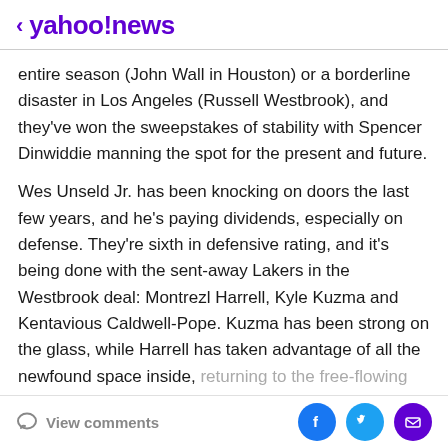< yahoo!news
entire season (John Wall in Houston) or a borderline disaster in Los Angeles (Russell Westbrook), and they've won the sweepstakes of stability with Spencer Dinwiddie manning the spot for the present and future.
Wes Unseld Jr. has been knocking on doors the last few years, and he's paying dividends, especially on defense. They're sixth in defensive rating, and it's being done with the sent-away Lakers in the Westbrook deal: Montrezl Harrell, Kyle Kuzma and Kentavious Caldwell-Pope. Kuzma has been strong on the glass, while Harrell has taken advantage of all the newfound space inside, returning to the free-flowing terror he was in seasons past.
View comments